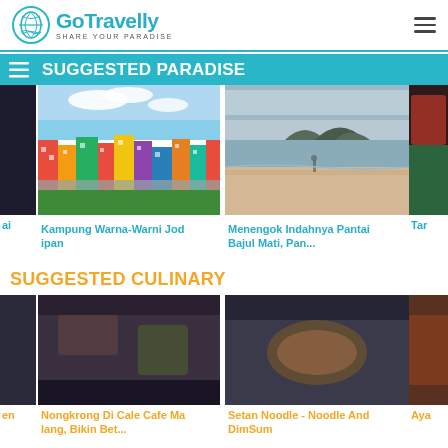GoTravelly - Share Your Paradise
SUGGESTED PARADISE
[Figure (photo): Partial dark image on left edge]
[Figure (photo): Kampung Warna-Warni Jodipan - colorful village aerial photo]
[Figure (photo): Menengok Indahnya Pantai Bajul Mati - beach photo with rocky islands in background]
[Figure (photo): Partial image on right edge]
ai
Kampung Warna-Warni Jodipan
Menengok Indahnya Pantai Bajul Mati, Pan...
Tar
SUGGESTED CULINARY
en
Nongkrong Di Cale Cafe Malang, Bikin Bet...
Setan Noodle - Noodle And DimSum
Aya